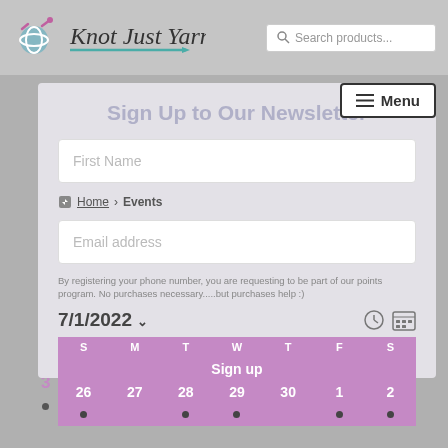[Figure (logo): Knot Just Yarn logo with yarn ball and crochet hook icon, italic serif text]
Search products...
Menu
Sign Up to Our Newsletter
First Name
Home › Events
Email address
By registering your phone number, you are requesting to be part of our points program. No purchases necessary.....but purchases help :)
7/1/2022
| S | M | T | W | T | F | S |
| --- | --- | --- | --- | --- | --- | --- |
| Sign up |  |  |  |  |  |  |
| 26 | 27 | 28 | 29 | 30 | 1 | 2 |
| 3 | 4 | 5 | 6 | 7 | 8 | 9 |